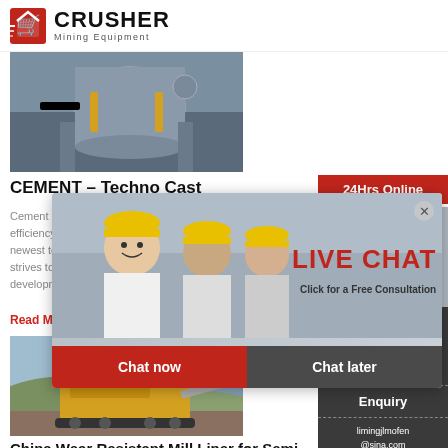CRUSHER Mining Equipment
[Figure (photo): Industrial cement plant machinery — large cylindrical mill equipment in a factory setting]
CEMENT – Techno Cast
Cement pla... efficiency, s... newest tech... strives to h... development...
Read More
[Figure (photo): Yellow mobile mining crusher/screening machine on a hillside landscape]
China Wear Resistant Mill Liner for Semi
[Figure (screenshot): Live Chat popup overlay with workers in hard hats. Text: LIVE CHAT, Click for a Free Consultation, Chat now, Chat later]
24Hrs Online
Need questions & suggestion?
Chat Now
Enquiry
limingjlmofen@sina.com